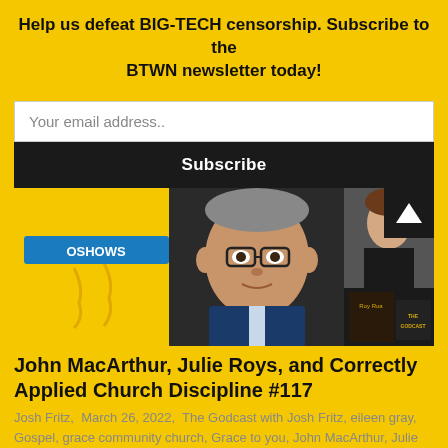Help us defeat BIG-TECH censorship. Subscribe to the BTWN newsletter today!
Your email address..
Subscribe
[Figure (photo): Composite image showing John MacArthur (older man with glasses in blue jacket), Julie Roys (woman in black), a book cover 'Roy Roa' in dark tones, and The Godcast logo, all on a yellow background with an OSHOWS logo partially visible.]
John MacArthur, Julie Roys, and Correctly Applied Church Discipline #117
Josh Fritz,  March 26, 2022,  The Godcast with Josh Fritz, eileen gray, Gospel, grace community church, Grace to you, John MacArthur, Julie Roys, Pastor John MacArthur, Podcast, roys report, The Godcast with Josh Fritz, 0